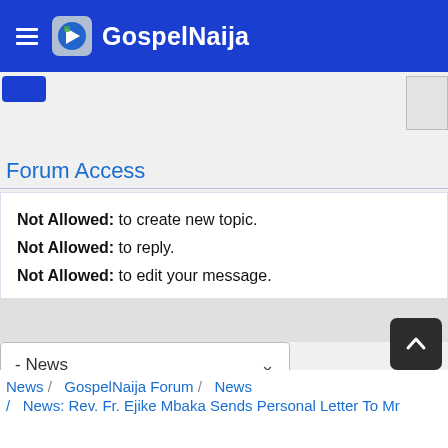GospelNaija
Forum Access
Not Allowed: to create new topic.
Not Allowed: to reply.
Not Allowed: to edit your message.
- News
News / GospelNaija Forum / News / News: Rev. Fr. Ejike Mbaka Sends Personal Letter To Mr